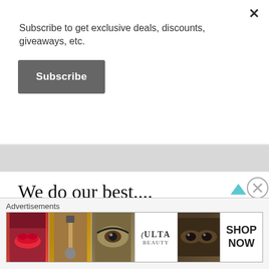×
Subscribe to get exclusive deals, discounts, giveaways, etc.
Subscribe
We do our best....
Please note: we do our best to provide accurate, useful information about event and activities.  Information is gathered from user submissions, press releases, local newspapers, other websites, signs around town, & word of mouth. We do our best to confirm details
Advertisements
[Figure (other): Advertisement banner for ULTA beauty showing cosmetic product images and 'SHOP NOW' text]